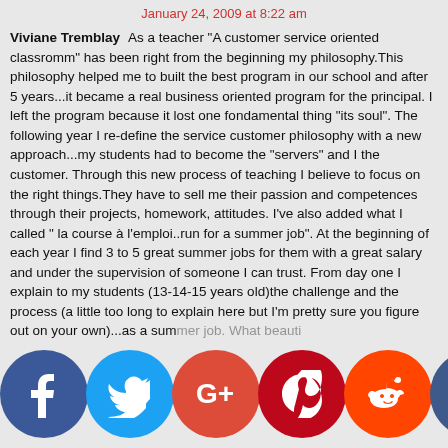January 24, 2009 at 8:22 am
Viviane Tremblay
As a teacher “A customer service oriented classromm” has been right from the beginning my philosophy.This philosophy helped me to built the best program in our school and after 5 years...it became a real business oriented program for the principal. I left the program because it lost one fondamental thing “its soul”. The following year I re-define the service customer philosophy with a new approach...my students had to become the “servers” and I the customer. Through this new process of teaching I believe to focus on the right things.They have to sell me their passion and competences through their projects, homework, attitudes. I’ve also added what I called ” la course à l’emploi..run for a summer job”. At the beginning of each year I find 3 to 5 great summer jobs for them with a great salary and under the supervision of someone I can trust. From day one I explain to my students (13-14-15 years old)the challenge and the process (a little too long to explain here but I’m pretty sure you figure out on your own)...as a summer job. What beauti...
[Figure (infographic): Social media sharing buttons row: Facebook (blue circle with f), Twitter (light blue circle with bird), Google+ (red-orange circle with G+), Pinterest (dark red circle with P), Reddit (orange circle with alien), Crown/other (dark blue circle with crown icon)]